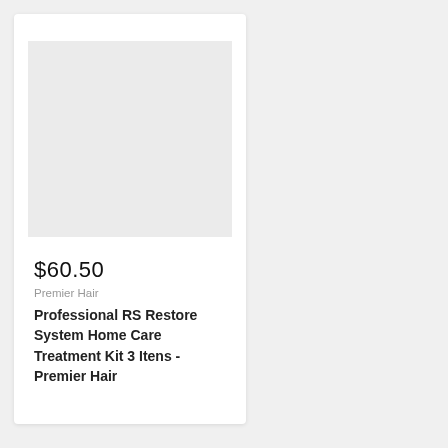[Figure (photo): Product image placeholder — light gray rectangle]
$60.50
Premier Hair
Professional RS Restore System Home Care Treatment Kit 3 Itens - Premier Hair